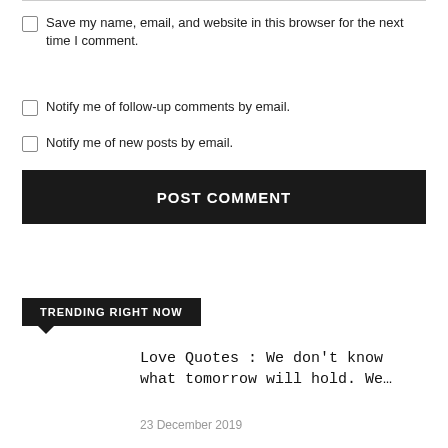Save my name, email, and website in this browser for the next time I comment.
Notify me of follow-up comments by email.
Notify me of new posts by email.
POST COMMENT
TRENDING RIGHT NOW
Love Quotes : We don't know what tomorrow will hold. We…
23 December 2019